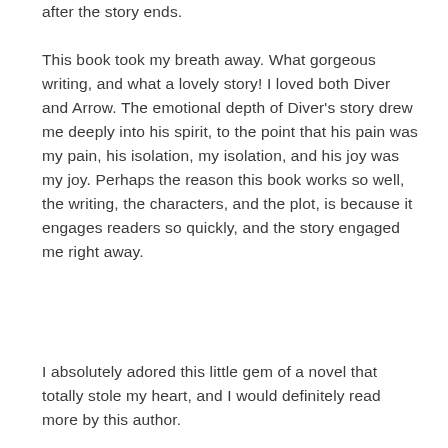after the story ends.
This book took my breath away. What gorgeous writing, and what a lovely story! I loved both Diver and Arrow. The emotional depth of Diver's story drew me deeply into his spirit, to the point that his pain was my pain, his isolation, my isolation, and his joy was my joy. Perhaps the reason this book works so well, the writing, the characters, and the plot, is because it engages readers so quickly, and the story engaged me right away.
I absolutely adored this little gem of a novel that totally stole my heart, and I would definitely read more by this author.